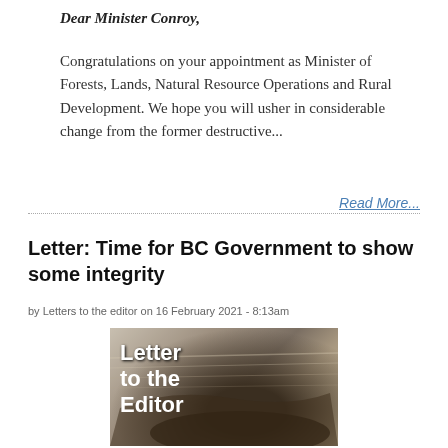Dear Minister Conroy,
Congratulations on your appointment as Minister of Forests, Lands, Natural Resource Operations and Rural Development. We hope you will usher in considerable change from the former destructive...
Read More...
Letter: Time for BC Government to show some integrity
by Letters to the editor on 16 February 2021 - 8:13am
[Figure (photo): Newspaper rolled up on a surface with overlay text 'Letter to the Editor' in white bold font]